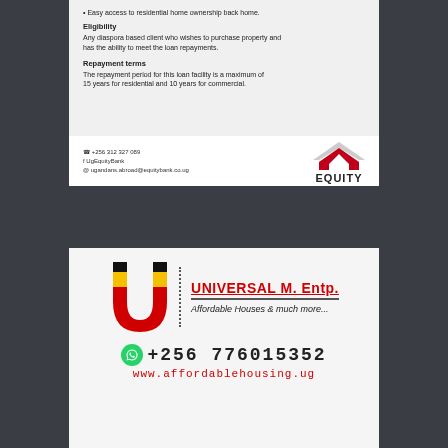Easy access to residential home ownership back home.
Eligibility
Any diaspora based client who wishes to purchase property and has the ability to meet the loan repayments.
Repayment terms
The repayment period for this loan facility is a maximum of 15 years for residential and 10 years for commercial.
+256 312 327 089
UgEquityBank
ugandans.abroad@equitybank.co.ug
[Figure (logo): Equity Bank logo with red roof/chevron graphic above the word EQUITY in bold black letters]
[Figure (logo): Universal M. Entp. logo: stylized U letter in black, yellow and red colors beside dotted vertical line, with company name in red bold underlined text and tagline Affordable Houses & much more...]
+256 776015352
www.affordablehousing.ug